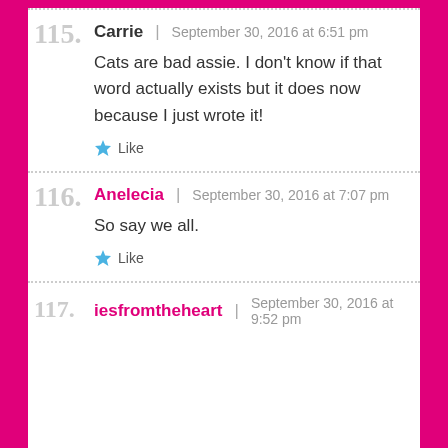115. Carrie | September 30, 2016 at 6:51 pm
Cats are bad assie. I don't know if that word actually exists but it does now because I just wrote it!
★ Like
116. Anelecia | September 30, 2016 at 7:07 pm
So say we all.
★ Like
117. iesfromtheheart | September 30, 2016 at 9:52 pm